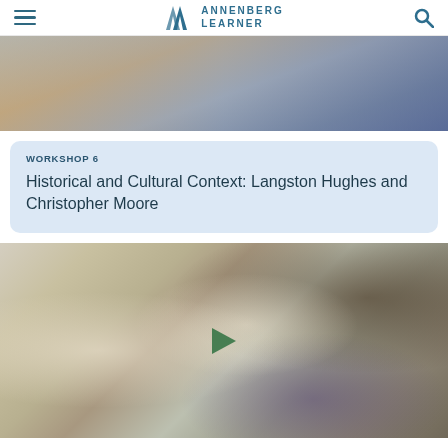Annenberg Learner (navigation header with hamburger menu, logo, and search icon)
[Figure (photo): Partial view of a classroom scene with papers and books on a desk, top portion cropped]
WORKSHOP 6
Historical and Cultural Context: Langston Hughes and Christopher Moore
[Figure (photo): A female teacher and two male students sitting at a desk in a classroom, engaged in discussion. A play button icon is visible in the center of the image.]